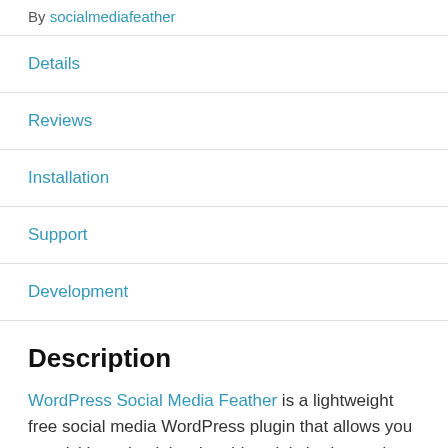By socialmediafeather
Details
Reviews
Installation
Support
Development
Description
WordPress Social Media Feather is a lightweight free social media WordPress plugin that allows you to quickly and painlessly add social sharing and following features to all your posts, pages and custom post types.